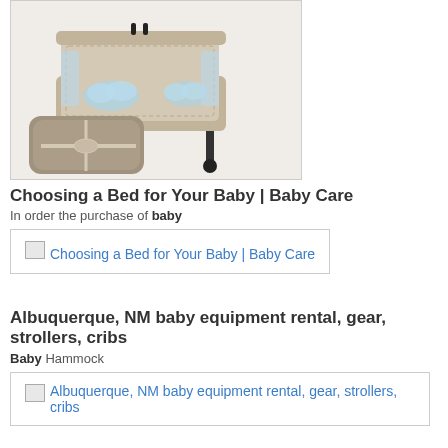[Figure (photo): A baby travel cot/playpen in beige and light blue, with a folded carry bag in front of it]
Choosing a Bed for Your Baby | Baby Care
In order the purchase of baby
[Figure (other): Broken image placeholder with link text: Choosing a Bed for Your Baby | Baby Care]
Albuquerque, NM baby equipment rental, gear, strollers, cribs
Baby Hammock
[Figure (other): Broken image placeholder with link text: Albuquerque, NM baby equipment rental, gear, strollers, cribs]